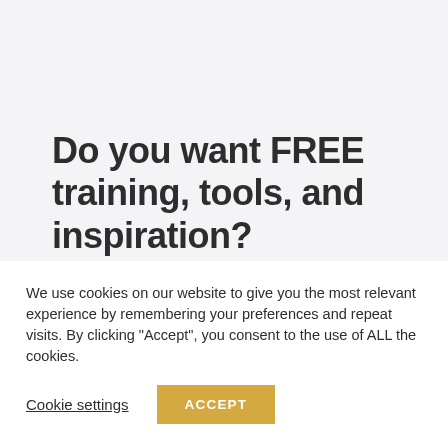Do you want FREE training, tools, and inspiration?
Yes? Put your name here and you
We use cookies on our website to give you the most relevant experience by remembering your preferences and repeat visits. By clicking "Accept", you consent to the use of ALL the cookies.
Cookie settings
ACCEPT